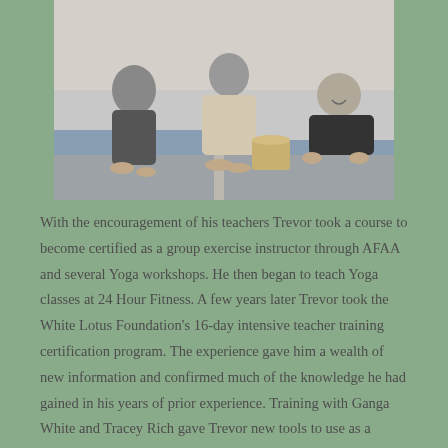[Figure (photo): Black and white photo of yoga students practicing poses on mats outdoors, with a teacher and students in various poses including kneeling and plank positions.]
With the encouragement of his teachers Trevor took a course to become certified as a group exercise instructor through AFAA and several Yoga workshops. He then began to teach Yoga classes at 24 Hour Fitness. A few years later Trevor took the White Lotus Foundation's 16-day intensive teacher training certification program. The experience gave him a wealth of new information and confirmed much of the knowledge he had gained in his years of prior experience. Training with Ganga White and Tracey Rich gave Trevor new tools to use as a